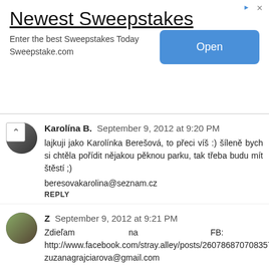[Figure (other): Advertisement banner for Newest Sweepstakes with Open button]
Karolína B.  September 9, 2012 at 9:20 PM
lajkuji jako Karolínka Berešová, to přeci víš :) šíleně bych si chtěla pořídit nějakou pěknou parku, tak třeba budu mít štěstí ;)
beresovakarolina@seznam.cz
REPLY
Z  September 9, 2012 at 9:21 PM
Zdieľam na FB: http://www.facebook.com/stray.alley/posts/260786870708357
zuzanagrajciarova@gmail.com
REPLY
Z  September 9, 2012 at 9:22 PM